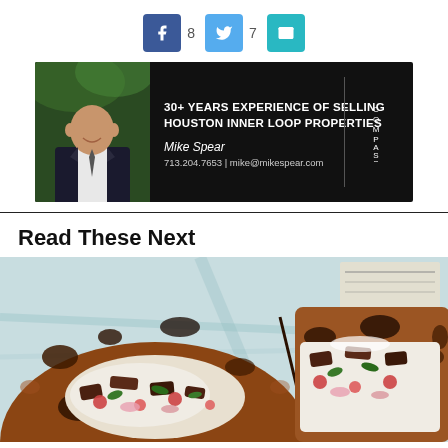[Figure (infographic): Social share buttons row: Facebook (blue, count 8), Twitter (light blue, count 7), Email (teal)]
[Figure (infographic): Advertisement banner: Mike Spear, Compass real estate agent. Black background with agent photo. Text: '30+ YEARS EXPERIENCE OF SELLING HOUSTON INNER LOOP PROPERTIES', 'Mike Spear', '713.204.7653 | mike@mikespear.com']
Read These Next
[Figure (photo): Close-up photo of a grilled flatbread wrap/burrito cut in half, showing filling of grilled meat, tomatoes, herbs, and white sauce, on a map-patterned background]